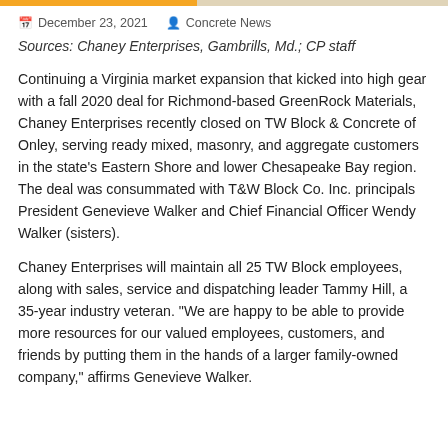December 23, 2021 | Concrete News
Sources: Chaney Enterprises, Gambrills, Md.; CP staff
Continuing a Virginia market expansion that kicked into high gear with a fall 2020 deal for Richmond-based GreenRock Materials, Chaney Enterprises recently closed on TW Block & Concrete of Onley, serving ready mixed, masonry, and aggregate customers in the state’s Eastern Shore and lower Chesapeake Bay region. The deal was consummated with T&W Block Co. Inc. principals President Genevieve Walker and Chief Financial Officer Wendy Walker (sisters).
Chaney Enterprises will maintain all 25 TW Block employees, along with sales, service and dispatching leader Tammy Hill, a 35-year industry veteran. “We are happy to be able to provide more resources for our valued employees, customers, and friends by putting them in the hands of a larger family-owned company,” affirms Genevieve Walker.